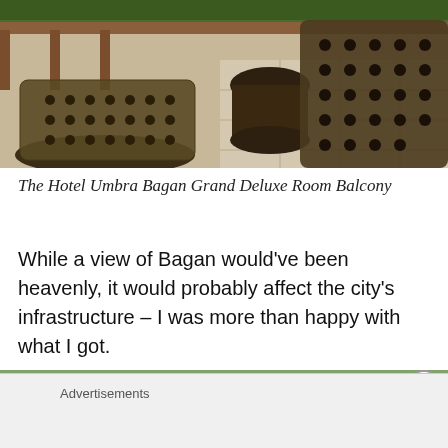[Figure (photo): Overhead view of wicker/rattan balcony furniture — two large chairs and a round stool/table on a tiled balcony with a wooden railing and greenery in the background.]
The Hotel Umbra Bagan Grand Deluxe Room Balcony
While a view of Bagan would've been heavenly, it would probably affect the city's infrastructure – I was more than happy with what I got.
[Figure (photo): Partial view of a lush green outdoor scene, partially obscured by an advertisement overlay.]
Advertisements